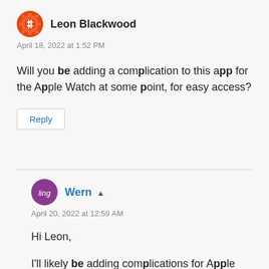[Figure (illustration): Orange circular avatar with a gear/hashtag icon for user Leon Blackwood]
Leon Blackwood
April 18, 2022 at 1:52 PM
Will you be adding a complication to this app for the Apple Watch at some point, for easy access?
Reply
[Figure (illustration): Purple circular avatar with stylized 'ling' text for user Wern]
Wern
April 20, 2022 at 12:59 AM
Hi Leon,
I'll likely be adding complications for Apple